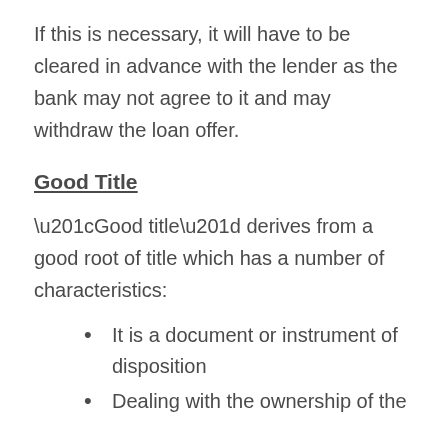If this is necessary, it will have to be cleared in advance with the lender as the bank may not agree to it and may withdraw the loan offer.
Good Title
“Good title” derives from a good root of title which has a number of characteristics:
It is a document or instrument of disposition
Dealing with the ownership of the